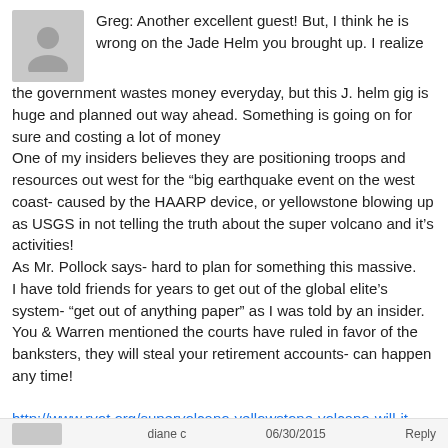[Figure (illustration): Gray placeholder avatar silhouette (person icon)]
Greg: Another excellent guest! But, I think he is wrong on the Jade Helm you brought up. I realize the government wastes money everyday, but this J. helm gig is huge and planned out way ahead. Something is going on for sure and costing a lot of money
One of my insiders believes they are positioning troops and resources out west for the “big earthquake event on the west coast- caused by the HAARP device, or yellowstone blowing up as USGS in not telling the truth about the super volcano and it’s activities!
As Mr. Pollock says- hard to plan for something this massive.
I have told friends for years to get out of the global elite’s system- “get out of anything paper” as I was told by an insider. You & Warren mentioned the courts have ruled in favor of the banksters, they will steal your retirement accounts- can happen any time!

http://www.ryot.org/supervolcano-yellowstone-volcano-will-it-erupt/765673
diane c    06/30/2015    Reply